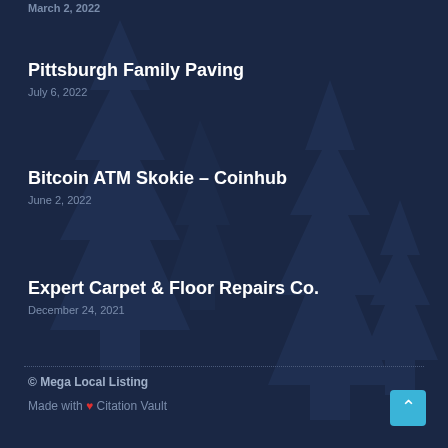March 2, 2022
Pittsburgh Family Paving
July 6, 2022
Bitcoin ATM Skokie – Coinhub
June 2, 2022
Expert Carpet & Floor Repairs Co.
December 24, 2021
© Mega Local Listing
Made with ❤ Citation Vault